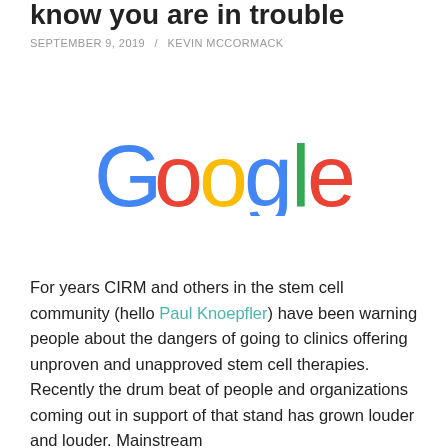know you are in trouble
SEPTEMBER 9, 2019 / KEVIN MCCORMACK
[Figure (logo): Google logo in standard multicolor typography: G in blue, o in red, o in yellow, g in blue, l in green, e in red]
For years CIRM and others in the stem cell community (hello Paul Knoepfler) have been warning people about the dangers of going to clinics offering unproven and unapproved stem cell therapies. Recently the drum beat of people and organizations coming out in support of that stand has grown louder and louder. Mainstream